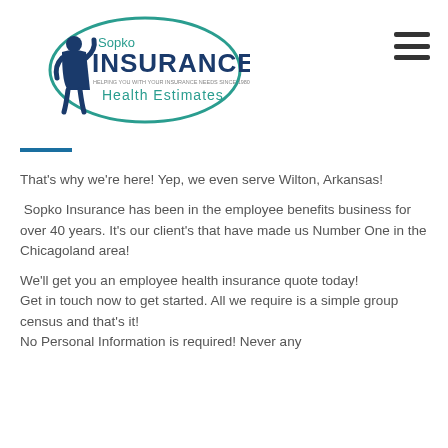[Figure (logo): Sopko Insurance Health Estimates logo with teal oval, figure of businessman, and teal/navy text]
That's why we're here! Yep, we even serve Wilton, Arkansas!
Sopko Insurance has been in the employee benefits business for over 40 years. It's our client's that have made us Number One in the Chicagoland area!
We'll get you an employee health insurance quote today!
Get in touch now to get started. All we require is a simple group census and that's it!
No Personal Information is required! Never any